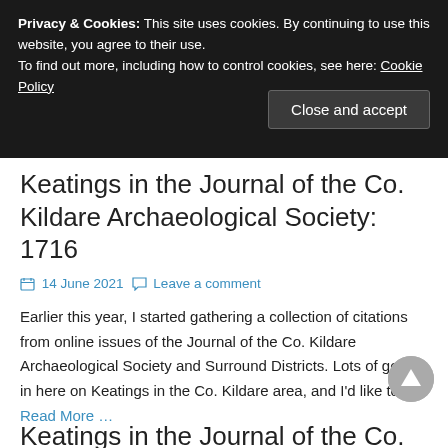Privacy & Cookies: This site uses cookies. By continuing to use this website, you agree to their use.
To find out more, including how to control cookies, see here: Cookie Policy
Close and accept
Keatings in the Journal of the Co. Kildare Archaeological Society: 1716
14 June 2021   Leave a comment
Earlier this year, I started gathering a collection of citations from online issues of the Journal of the Co. Kildare Archaeological Society and Surround Districts. Lots of gems in here on Keatings in the Co. Kildare area, and I'd like to do Read More …
Keatings in the Journal of the Co.